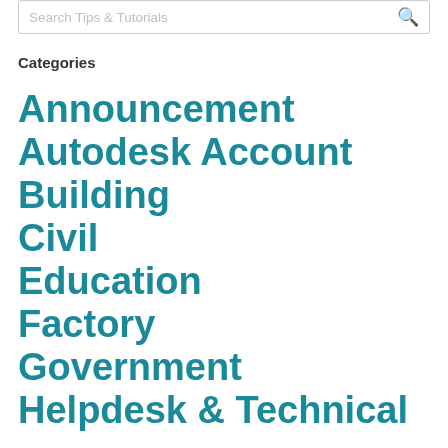Search Tips & Tutorials
Categories
Announcement
Autodesk Account
Building
Civil
Education
Factory
Government
Helpdesk & Technical